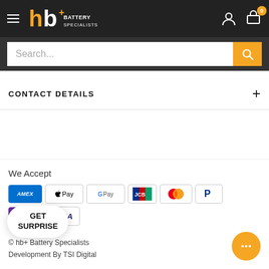hb+ Battery Specialists — navigation header with hamburger menu, logo, account icon, and cart (0)
Search...
CONTACT DETAILS
We Accept
[Figure (logo): Payment method icons: AMEX, Apple Pay, Google Pay, JCB, Mastercard, PayPal, OPay, VISA]
GET SURPRISE
© hb+ Battery Specialists
Development By TSI Digital